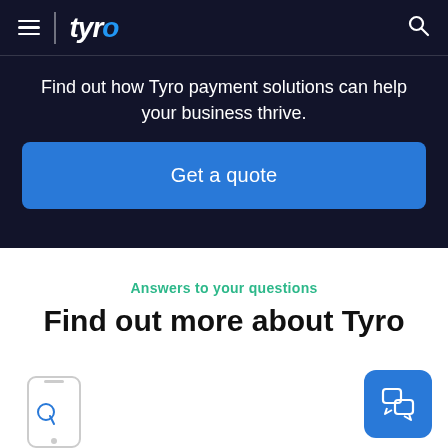tyro
Find out how Tyro payment solutions can help your business thrive.
Get a quote
Answers to your questions
Find out more about Tyro